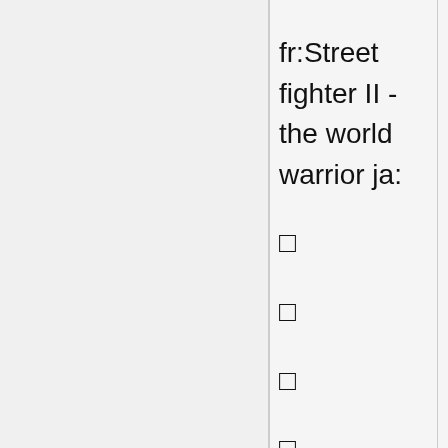fr:Street fighter II - the world warrior ja:                